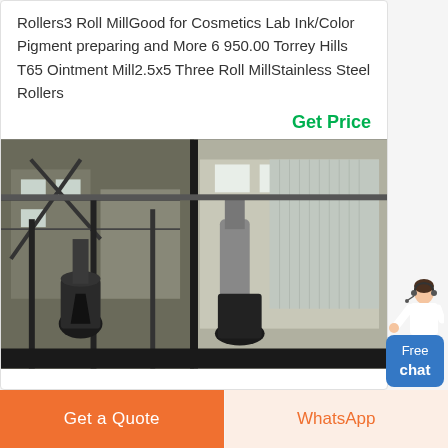Rollers3 Roll MillGood for Cosmetics Lab Ink/Color Pigment preparing and More 6 950.00 Torrey Hills T65 Ointment Mill2.5x5 Three Roll MillStainless Steel Rollers
Get Price
[Figure (photo): Industrial factory interior showing large milling/grinding machinery with metal framework, pipes, and industrial equipment in a warehouse setting.]
[Figure (illustration): Small cartoon figure of a customer service representative (woman in white coat with headset)]
Free chat
Get a Quote
WhatsApp